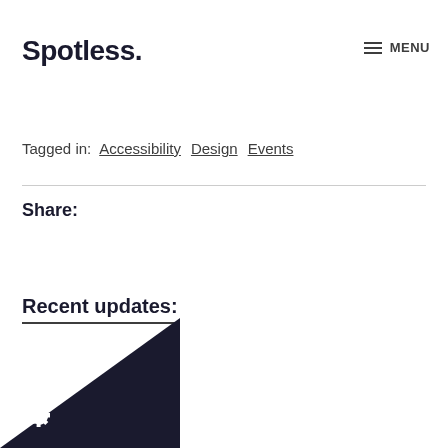Spotless. MENU
users, whether disabled or not, can tailor apps to specific needs and ultimately benefit everyone.
Tagged in: Accessibility Design Events
Share:
Recent updates:
[Figure (logo): Dark triangle with gear/cog icon at bottom left corner]